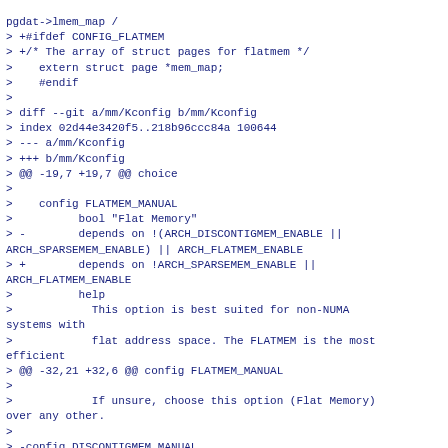pgdat->lmem_map /
> +#ifdef CONFIG_FLATMEM
> +/* The array of struct pages for flatmem */
>    extern struct page *mem_map;
>    #endif
>
> diff --git a/mm/Kconfig b/mm/Kconfig
> index 02d44e3420f5..218b96ccc84a 100644
> --- a/mm/Kconfig
> +++ b/mm/Kconfig
> @@ -19,7 +19,7 @@ choice
>
>    config FLATMEM_MANUAL
>          bool "Flat Memory"
> -        depends on !(ARCH_DISCONTIGMEM_ENABLE || ARCH_SPARSEMEM_ENABLE) || ARCH_FLATMEM_ENABLE
> +        depends on !ARCH_SPARSEMEM_ENABLE || ARCH_FLATMEM_ENABLE
>          help
>            This option is best suited for non-NUMA systems with
>            flat address space. The FLATMEM is the most efficient
> @@ -32,21 +32,6 @@ config FLATMEM_MANUAL
>
>            If unsure, choose this option (Flat Memory) over any other.
>
> -config DISCONTIGMEM_MANUAL
> -      bool "Discontiguous Memory"
> -      depends on ARCH_DISCONTIGMEM_ENABLE